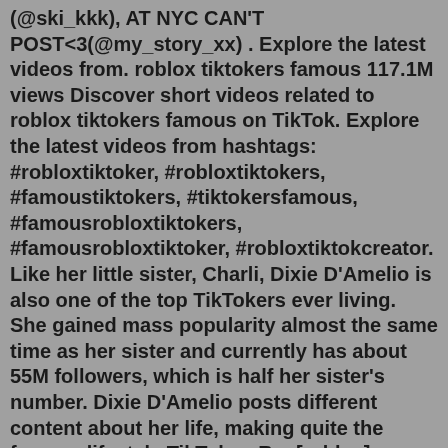(@ski_kkk), AT NYC CAN'T POST<3(@my_story_xx) . Explore the latest videos from. roblox tiktokers famous 117.1M views Discover short videos related to roblox tiktokers famous on TikTok. Explore the latest videos from hashtags: #robloxtiktoker, #robloxtiktokers, #famoustiktokers, #tiktokersfamous, #famousrobloxtiktokers, #famousrobloxtiktoker, #robloxtiktokcreator. Like her little sister, Charli, Dixie D'Amelio is also one of the top TikTokers ever living. She gained mass popularity almost the same time as her sister and currently has about 55M followers, which is half her sister's number. Dixie D'Amelio posts different content about her life, making quite the famous lifestyle TikToker. Re: [roblox] account cracker/checker free + captures bc/rap/robux 09-07-2019, 03:40 am #4 (09-07-2019, 03:16 AM) 0x59 Wrote: under further analysis i have deemed the uploaded program malware; It logs cookies if you have the.Check out [NEW] Roblox TikTokers.It's one of the millions of unique, user-generated 3D